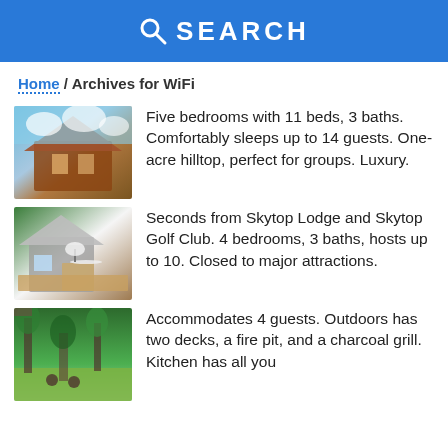SEARCH
Home / Archives for WiFi
[Figure (photo): Exterior photo of a large rustic wooden cabin with blue sky and clouds in background]
Five bedrooms with 11 beds, 3 baths. Comfortably sleeps up to 14 guests. One-acre hilltop, perfect for groups. Luxury.
[Figure (photo): Photo of a stone and wood cottage with a deck and patio umbrella surrounded by trees]
Seconds from Skytop Lodge and Skytop Golf Club. 4 bedrooms, 3 baths, hosts up to 10. Closed to major attractions.
[Figure (photo): Photo of a wooded property with green lawn and people sitting around a fire pit with chairs]
Accommodates 4 guests. Outdoors has two decks, a fire pit, and a charcoal grill. Kitchen has all you need. Minutes from Downtown M...